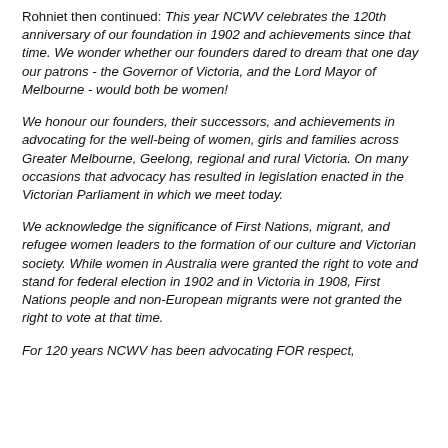Rohniet then continued: This year NCWV celebrates the 120th anniversary of our foundation in 1902 and achievements since that time. We wonder whether our founders dared to dream that one day our patrons - the Governor of Victoria, and the Lord Mayor of Melbourne - would both be women!
We honour our founders, their successors, and achievements in advocating for the well-being of women, girls and families across Greater Melbourne, Geelong, regional and rural Victoria. On many occasions that advocacy has resulted in legislation enacted in the Victorian Parliament in which we meet today.
We acknowledge the significance of First Nations, migrant, and refugee women leaders to the formation of our culture and Victorian society. While women in Australia were granted the right to vote and stand for federal election in 1902 and in Victoria in 1908, First Nations people and non-European migrants were not granted the right to vote at that time.
For 120 years NCWV has been advocating FOR respect,